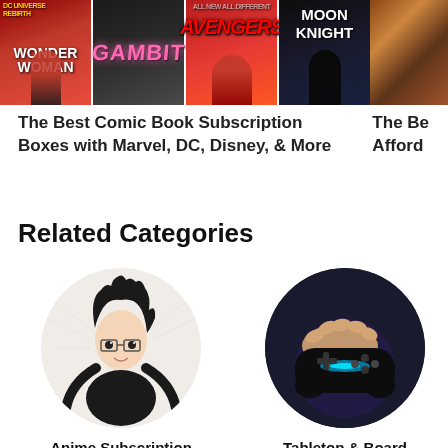[Figure (photo): Comic book covers showing Wonder Woman, Gambit, Avengers, Moon Knight, and a partial side image of what appears to be stacked books or boxes]
The Best Comic Book Subscription Boxes with Marvel, DC, Disney, & More
The Be... Afford...
Related Categories
[Figure (photo): Circular image of anime-style manga character illustration in black and white]
Anime Subscription Boxes
[Figure (photo): Circular image of hands holding a gaming controller with blue LED light]
Tabletop & Board Games